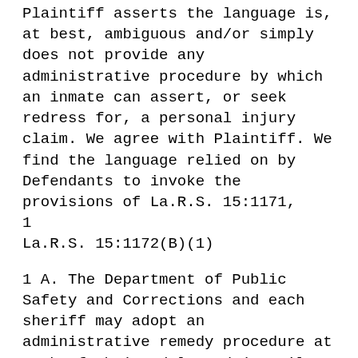Plaintiff asserts the language is, at best, ambiguous and/or simply does not provide any administrative procedure by which an inmate can assert, or seek redress for, a personal injury claim. We agree with Plaintiff. We find the language relied on by Defendants to invoke the provisions of La.R.S. 15:1171, 1 La.R.S. 15:1172(B)(1)
1 A. The Department of Public Safety and Corrections and each sheriff may adopt an administrative remedy procedure at each of their adult and juvenile institutions, including private prison facilities. B. The department or sheriff may also adopt, in accordance with the Administrative Procedure Act,1